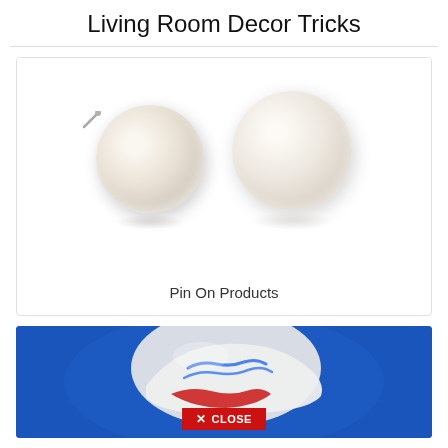Living Room Decor Tricks
[Figure (photo): Two white/cream pearl stud earrings on white background, one showing the metal post, with soft reflections below]
Pin On Products
[Figure (photo): Close-up of a white and red athletic shoe against a blue background, with a red CLOSE button overlay at the bottom]